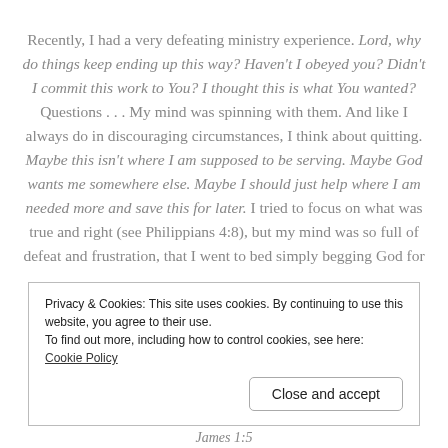Recently, I had a very defeating ministry experience. Lord, why do things keep ending up this way? Haven't I obeyed you? Didn't I commit this work to You? I thought this is what You wanted? Questions . . . My mind was spinning with them. And like I always do in discouraging circumstances, I think about quitting. Maybe this isn't where I am supposed to be serving. Maybe God wants me somewhere else. Maybe I should just help where I am needed more and save this for later. I tried to focus on what was true and right (see Philippians 4:8), but my mind was so full of defeat and frustration, that I went to bed simply begging God for
Privacy & Cookies: This site uses cookies. By continuing to use this website, you agree to their use.
To find out more, including how to control cookies, see here: Cookie Policy
Close and accept
James 1:5